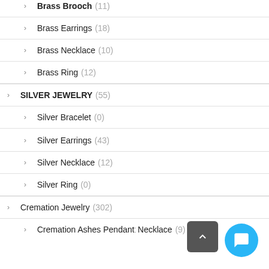Brass Earrings (18)
Brass Necklace (10)
Brass Ring (12)
SILVER JEWELRY (55)
Silver Bracelet (0)
Silver Earrings (43)
Silver Necklace (12)
Silver Ring (0)
Cremation Jewelry (302)
Cremation Ashes Pendant Necklace (9)